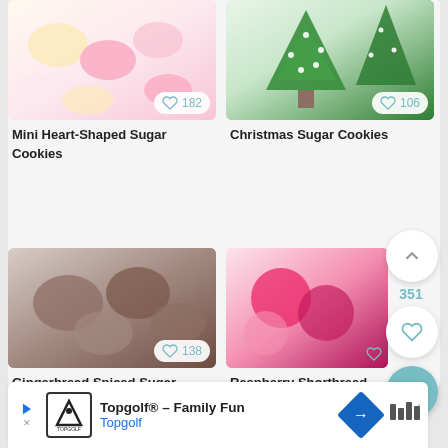[Figure (photo): Mini heart-shaped sugar cookies in pink and cream colors with like badge showing 182]
Mini Heart-Shaped Sugar Cookies
[Figure (photo): Christmas tree-shaped sugar cookies decorated in green frosting with like badge showing 106]
Christmas Sugar Cookies
[Figure (photo): Gingerbread spiced sugar cookies with like badge showing 138]
Gingerbread Spiced Sugar Cookies
[Figure (photo): Raspberry shortbread cookies with raspberry sauce, like badge visible, scroll count 351]
Raspberry Shortbread Cookies with Raspberry Sa
Topgolf® – Family Fun
Topgolf